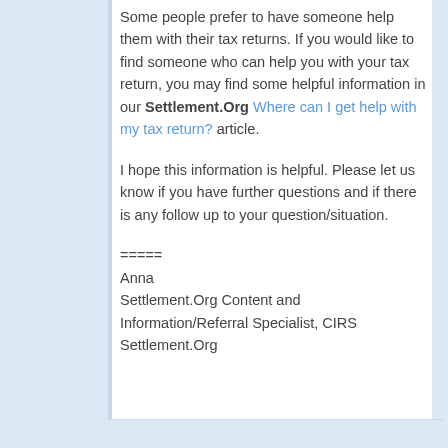Some people prefer to have someone help them with their tax returns. If you would like to find someone who can help you with your tax return, you may find some helpful information in our Settlement.Org Where can I get help with my tax return? article.
I hope this information is helpful. Please let us know if you have further questions and if there is any follow up to your question/situation.
=====
Anna
Settlement.Org Content and Information/Referral Specialist, CIRS
Settlement.Org